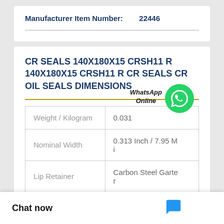Manufacturer Item Number: 22446
CR SEALS 140X180X15 CRSH11 R 140X180X15 CRSH11 R CR SEALS CR OIL SEALS DIMENSIONS
| Property | Value |
| --- | --- |
| Weight / Kilogram | 0.031 |
| Nominal Width | 0.313 Inch / 7.95 Mi |
| Lip Retainer | Carbon Steel Garter |
|  | Oil Seal |
Chat now